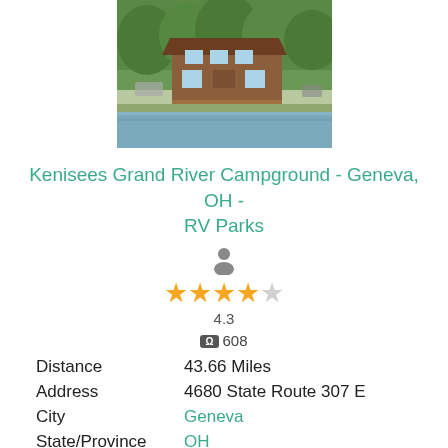[Figure (photo): Log cabin/lodge building reflected in a river or pond, surrounded by green trees, outdoor recreational setting.]
Kenisees Grand River Campground - Geneva, OH - RV Parks
[Figure (infographic): Person silhouette icon above 4.3 star rating with 4.3 numeric score]
608
Distance   43.66 Miles
Address   4680 State Route 307 E
City   Geneva
State/Province   OH
Welcome to Kenisee Grand River Campground Over 146 acres of beautiful recreation area that make it so